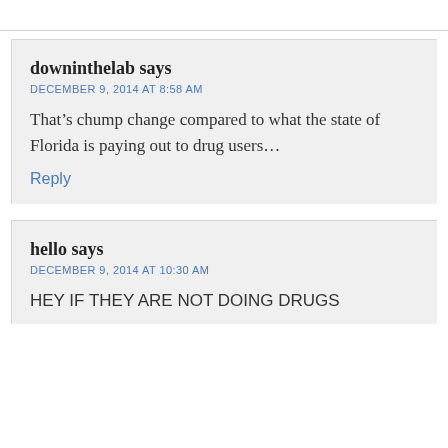downinthelab says
DECEMBER 9, 2014 AT 8:58 AM

That's chump change compared to what the state of Florida is paying out to drug users…

Reply
hello says
DECEMBER 9, 2014 AT 10:30 AM

HEY IF THEY ARE NOT DOING DRUGS